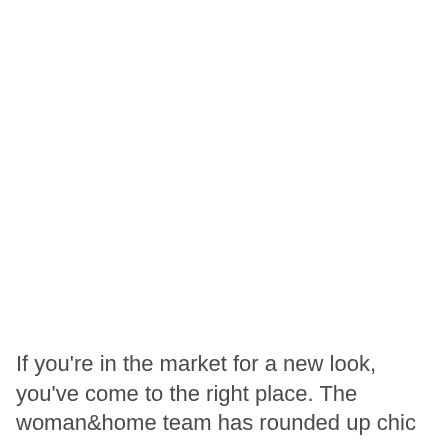If you're in the market for a new look, you've come to the right place. The woman&home team has rounded up chic